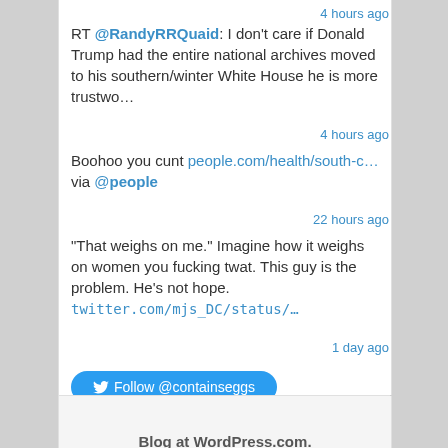4 hours ago
RT @RandyRRQuaid: I don't care if Donald Trump had the entire national archives moved to his southern/winter White House he is more trustwo…
4 hours ago
Boohoo you cunt people.com/health/south-c… via @people
22 hours ago
"That weighs on me." Imagine how it weighs on women you fucking twat. This guy is the problem. He's not hope. twitter.com/mjs_DC/status/…
1 day ago
Follow @containseggs
Blog at WordPress.com.